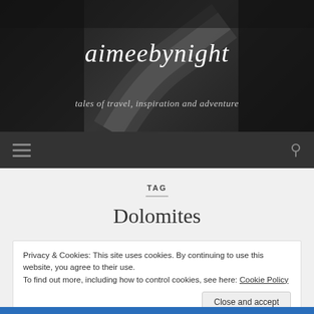[Figure (photo): Black and white hero image of a winding road through trees, used as website header background]
aimeebynight
tales of travel, inspiration and adventure
[Figure (infographic): Navigation bar with hamburger menu icon on left and search icon on right, dark background]
TAG
Dolomites
Privacy & Cookies: This site uses cookies. By continuing to use this website, you agree to their use.
To find out more, including how to control cookies, see here: Cookie Policy
Close and accept